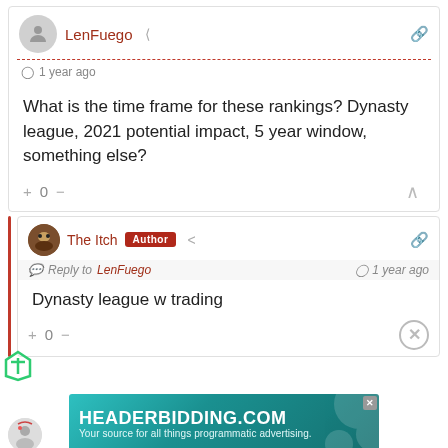LenFuego · 1 year ago
What is the time frame for these rankings? Dynasty league, 2021 potential impact, 5 year window, something else?
The Itch Author · Reply to LenFuego · 1 year ago
Dynasty league w trading
[Figure (illustration): HEADERBIDDING.COM ad banner - Your source for all things programmatic advertising.]